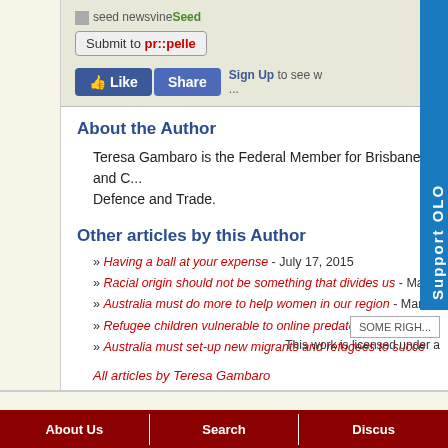[Figure (screenshot): Social sharing bar with seed newsvine, Submit to pr::peller button, and Facebook Like/Share buttons]
About the Author
Teresa Gambaro is the Federal Member for Brisbane and C... Defence and Trade.
Other articles by this Author
» Having a ball at your expense - July 17, 2015
» Racial origin should not be something that divides us - Ma...
» Australia must do more to help women in our region - Mar...
» Refugee children vulnerable to online predators - October...
» Australia must set-up new migrants and refugees to succe...
All articles by Teresa Gambaro
This work is licensed under a
About Us | Search | Discus...